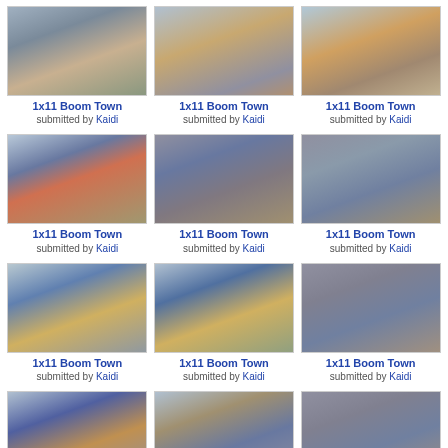[Figure (photo): TV show still - people at a restaurant dining scene]
1x11 Boom Town
submitted by Kaidi
[Figure (photo): TV show still - close-up man looking sideways]
1x11 Boom Town
submitted by Kaidi
[Figure (photo): TV show still - man smiling]
1x11 Boom Town
submitted by Kaidi
[Figure (photo): TV show still - group at restaurant table, woman in red]
1x11 Boom Town
submitted by Kaidi
[Figure (photo): TV show still - group at restaurant laughing]
1x11 Boom Town
submitted by Kaidi
[Figure (photo): TV show still - people at restaurant table]
1x11 Boom Town
submitted by Kaidi
[Figure (photo): TV show still - two people at restaurant]
1x11 Boom Town
submitted by Kaidi
[Figure (photo): TV show still - two people at restaurant, blue shirt]
1x11 Boom Town
submitted by Kaidi
[Figure (photo): TV show still - people at restaurant table side view]
1x11 Boom Town
submitted by Kaidi
[Figure (photo): TV show still - man with mustache at restaurant]
1x11 Boom Town
submitted by Kaidi
[Figure (photo): TV show still - restaurant group scene]
1x11 Boom Town
submitted by Kaidi
[Figure (photo): TV show still - people at restaurant table side]
1x11 Boom Town
submitted by Kaidi
[Figure (photo): TV show still - partial row, restaurant scene]
[Figure (photo): TV show still - partial row, restaurant scene bright]
[Figure (photo): TV show still - partial row, dark scene]